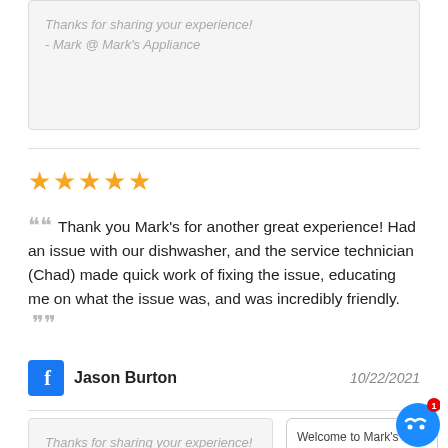Thanks for sharing your experience!
- Mark @ Mark's Appliance
[Figure (other): Five gold star rating]
Thank you Mark's for another great experience! Had an issue with our dishwasher, and the service technician (Chad) made quick work of fixing the issue, educating me on what the issue was, and was incredibly friendly.
Jason Burton   10/22/2021
Thanks for sharing your experience!
- Mark @ Mark's Appliance
[Figure (other): Chat popup: Welcome to Mark's Appliance! Type out a question below, and we will be ready to answer it. Thank you for your patience!]
[Figure (other): Five gold star rating]
Wonderful customer service and great delivery experience. Definitely the place to shop.